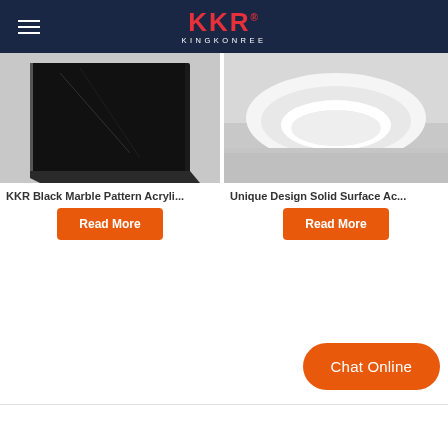KKR KINGKONREE
[Figure (photo): KKR Black Marble Pattern Acrylic solid surface product photo - black marble slab]
KKR Black Marble Pattern Acryli...
Read More
[Figure (photo): Unique Design Solid Surface Ac... product photo - white basin/sink on solid surface]
Unique Design Solid Surface Ac...
Read More
Chat Online